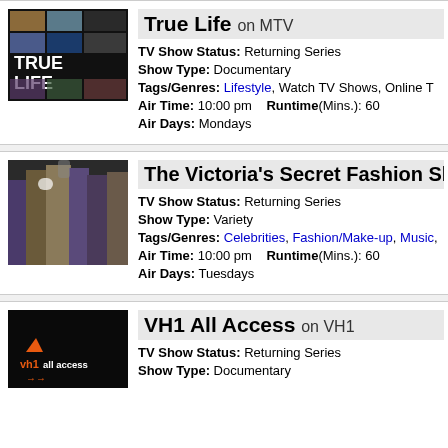[Figure (photo): True Life TV show thumbnail image with grid of photos and TRUE LIFE text]
True Life on MTV
TV Show Status: Returning Series
Show Type: Documentary
Tags/Genres: Lifestyle, Watch TV Shows, Online T
Air Time: 10:00 pm    Runtime(Mins.): 60
Air Days: Mondays
[Figure (photo): The Victoria's Secret Fashion Show thumbnail with group of models]
The Victoria's Secret Fashion Sh
TV Show Status: Returning Series
Show Type: Variety
Tags/Genres: Celebrities, Fashion/Make-up, Music,
Air Time: 10:00 pm    Runtime(Mins.): 60
Air Days: Tuesdays
[Figure (photo): VH1 All Access logo thumbnail on dark background]
VH1 All Access on VH1
TV Show Status: Returning Series
Show Type: Documentary